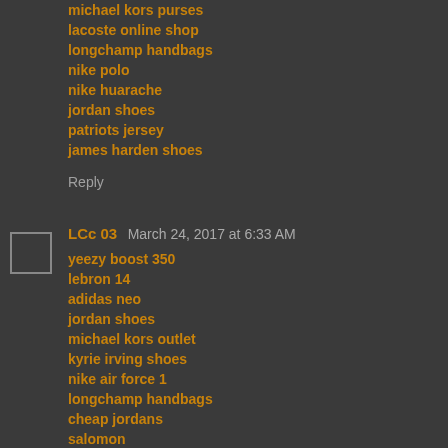michael kors purses
lacoste online shop
longchamp handbags
nike polo
nike huarache
jordan shoes
patriots jersey
james harden shoes
Reply
LCc 03  March 24, 2017 at 6:33 AM
yeezy boost 350
lebron 14
adidas neo
jordan shoes
michael kors outlet
kyrie irving shoes
nike air force 1
longchamp handbags
cheap jordans
salomon
Reply